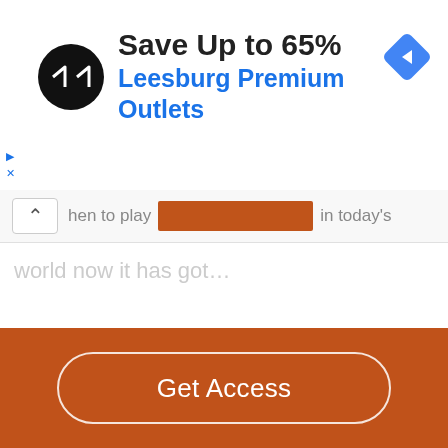[Figure (screenshot): Advertisement banner for Leesburg Premium Outlets showing a black circular logo with arrow symbol, headline 'Save Up to 65%', subline 'Leesburg Premium Outlets' in blue, and a blue navigation diamond icon on the right.]
hen to play [redacted] in today's world now it has got…
[Figure (screenshot): Orange 'Get Access' call-to-action button on a burnt orange/rust background at the bottom of the page.]